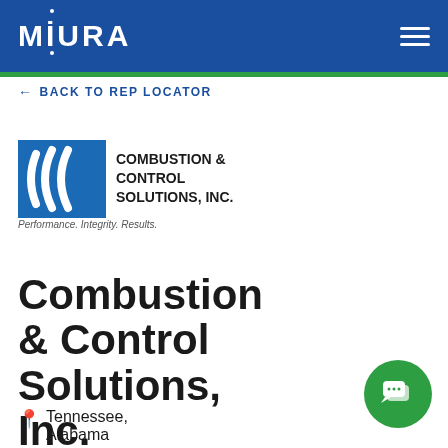MIURA
← BACK TO REP LOCATOR
[Figure (logo): Combustion & Control Solutions, Inc. logo with stylized CCS graphic and tagline: Performance. Integrity. Results.]
Combustion & Control Solutions, Inc.
Tennessee, Alabama